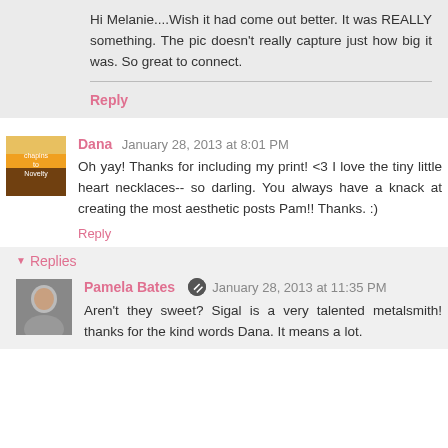Hi Melanie....Wish it had come out better. It was REALLY something. The pic doesn't really capture just how big it was. So great to connect.
Reply
Dana January 28, 2013 at 8:01 PM
Oh yay! Thanks for including my print! <3 I love the tiny little heart necklaces-- so darling. You always have a knack at creating the most aesthetic posts Pam!! Thanks. :)
Reply
Replies
Pamela Bates January 28, 2013 at 11:35 PM
Aren't they sweet? Sigal is a very talented metalsmith! thanks for the kind words Dana. It means a lot.